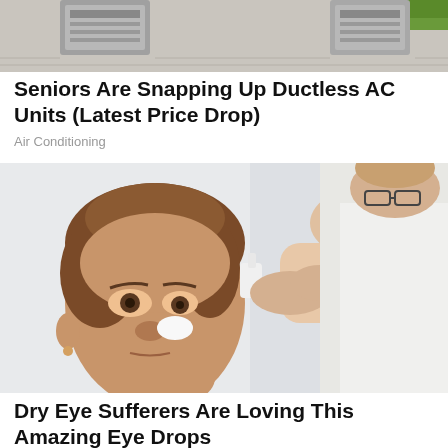[Figure (photo): Top portion of an outdoor scene with what appears to be a ductless AC unit mounted on a wall with greenery in background]
Seniors Are Snapping Up Ductless AC Units (Latest Price Drop)
Air Conditioning
[Figure (photo): A middle-aged woman receiving eye drops from a healthcare professional who is applying drops to her eye]
Dry Eye Sufferers Are Loving This Amazing Eye Drops